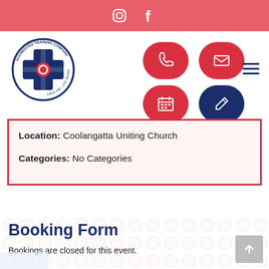Instagram Facebook icons header bar
[Figure (logo): Accredited Training Company circular logo with blue cross and red circle center, text around border: ACCREDITED TRAINING COMPANY - FIRST AID - LIFE SAVER]
[Figure (infographic): Four oval icon buttons: red phone icon, red envelope icon, red calendar icon, dark blue pencil/edit icon]
Location: Coolangatta Uniting Church
Categories: No Categories
Booking Form
Bookings are closed for this event.